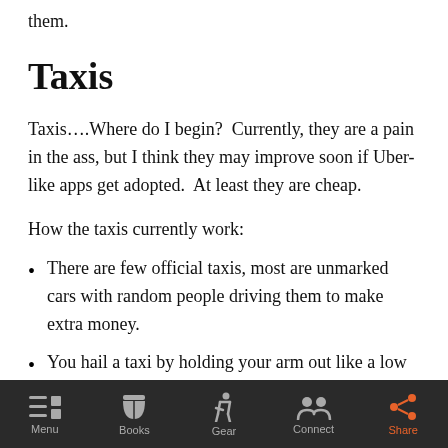them.
Taxis
Taxis….Where do I begin?  Currently, they are a pain in the ass, but I think they may improve soon if Uber-like apps get adopted.  At least they are cheap.
How the taxis currently work:
There are few official taxis, most are unmarked cars with random people driving them to make extra money.
You hail a taxi by holding your arm out like a low
Menu  Books  Gear  Connect  Share